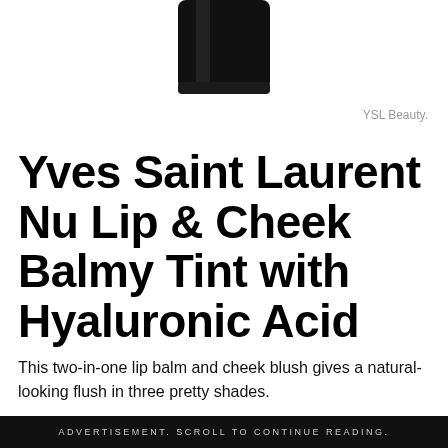[Figure (photo): Bottom portion of a black cosmetic product (lipstick or balm) partially cropped at top]
YSL Beauty.
Yves Saint Laurent Nu Lip & Cheek Balmy Tint with Hyaluronic Acid
This two-in-one lip balm and cheek blush gives a natural-looking flush in three pretty shades.
ADVERTISEMENT. SCROLL TO CONTINUE READING.